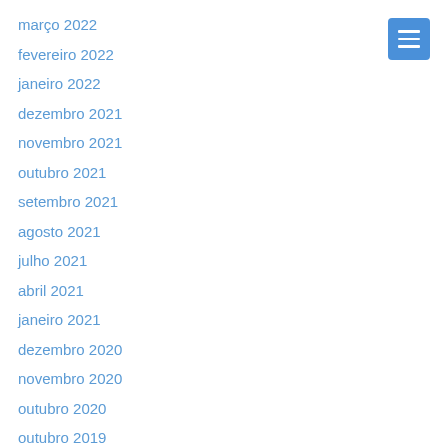março 2022
fevereiro 2022
janeiro 2022
dezembro 2021
novembro 2021
outubro 2021
setembro 2021
agosto 2021
julho 2021
abril 2021
janeiro 2021
dezembro 2020
novembro 2020
outubro 2020
outubro 2019
outubro 2018